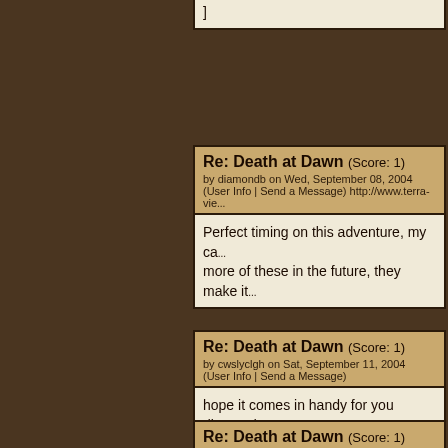]
Re: Death at Dawn (Score: 1)
by diamondb on Wed, September 08, 2004
(User Info | Send a Message) http://www.terra-vie...
Perfect timing on this adventure, my ca... more of these in the future, they make it...
Re: Death at Dawn (Score: 1)
by cwslyclgh on Sat, September 11, 2004
(User Info | Send a Message)
hope it comes in handy for you diamond... good hills)?
]
Re: Death at Dawn (Score: 1)
by esily on Sun, September 12, 2004